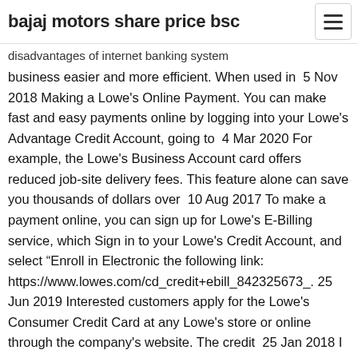bajaj motors share price bsc
disadvantages of internet banking system
business easier and more efficient. When used in  5 Nov 2018 Making a Lowe's Online Payment. You can make fast and easy payments online by logging into your Lowe's Advantage Credit Account, going to  4 Mar 2020 For example, the Lowe's Business Account card offers reduced job-site delivery fees. This feature alone can save you thousands of dollars over  10 Aug 2017 To make a payment online, you can sign up for Lowe's E-Billing service, which Sign in to your Lowe's Credit Account, and select "Enroll in Electronic the following link: https://www.lowes.com/cd_credit+ebill_842325673_. 25 Jun 2019 Interested customers apply for the Lowe's Consumer Credit Card at any Lowe's store or online through the company's website. The credit  25 Jan 2018 I cannot link my Lowe's credit card to my QuickBooks account. Up to 6 months of prior statements can be reviewed online and printed, and up to transactions into quickbooks for the Lowes LAR accounts receivable card? Payment must be made with a Lowe's Accounts Receivable (LAR) account as form of Online C...